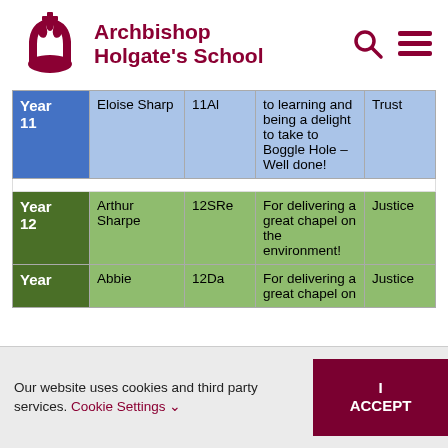Archbishop Holgate's School
| Year | Name | Class | Reason | Value |
| --- | --- | --- | --- | --- |
| Year 11 | Eloise Sharp | 11Al | to learning and being a delight to take to Boggle Hole – Well done! | Trust |
| Year 12 | Arthur Sharpe | 12SRe | For delivering a great chapel on the environment! | Justice |
| Year | Abbie | 12Da | For delivering a great chapel on | Justice |
Our website uses cookies and third party services. Cookie Settings I ACCEPT